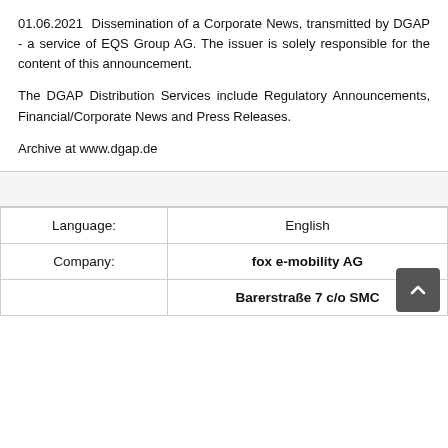01.06.2021 Dissemination of a Corporate News, transmitted by DGAP - a service of EQS Group AG. The issuer is solely responsible for the content of this announcement.
The DGAP Distribution Services include Regulatory Announcements, Financial/Corporate News and Press Releases.
Archive at www.dgap.de
|  |  |
| --- | --- |
| Language: | English |
| Company: | fox e-mobility AG |
|  | Barerstraße 7 c/o SMC |